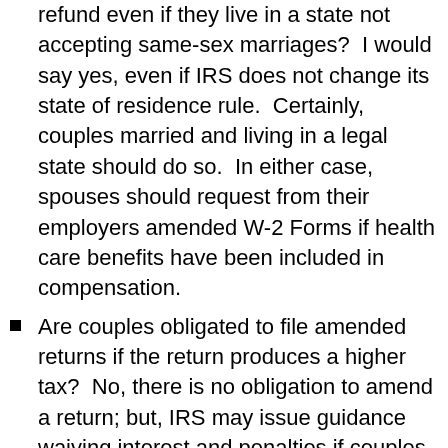refund even if they live in a state not accepting same-sex marriages?  I would say yes, even if IRS does not change its state of residence rule.  Certainly, couples married and living in a legal state should do so.  In either case, spouses should request from their employers amended W-2 Forms if health care benefits have been included in compensation.
Are couples obligated to file amended returns if the return produces a higher tax?  No, there is no obligation to amend a return; but, IRS may issue guidance waiving interest and penalties if couples do come forward voluntarily (assuming retroactive application of the decision).
Will marriage benefits under federal law, apart from tax, e.g., Social Security survivor benefits, be extended to those joined in civil unions or comprehensive